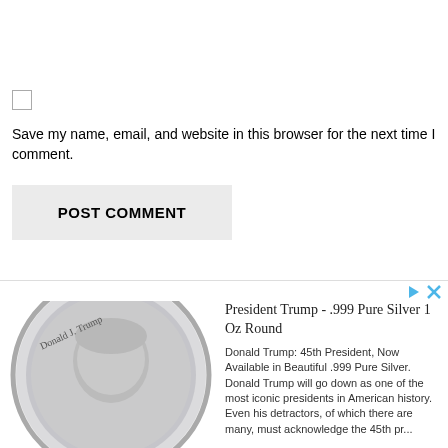[Figure (other): Checkbox (unchecked) UI element]
Save my name, email, and website in this browser for the next time I comment.
POST COMMENT
[Figure (photo): Advertisement banner showing a Donald J. Trump commemorative .999 Pure Silver 1 Oz Round coin with his embossed portrait]
President Trump - .999 Pure Silver 1 Oz Round
Donald Trump: 45th President, Now Available in Beautiful .999 Pure Silver. Donald Trump will go down as one of the most iconic presidents in American history. Even his detractors, of which there are many, must acknowledge the 45th pr...